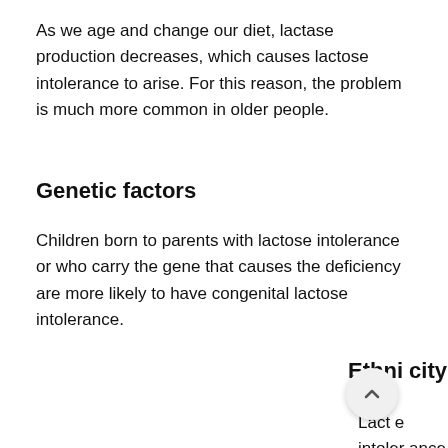As we age and change our diet, lactase production decreases, which causes lactose intolerance to arise. For this reason, the problem is much more common in older people.
Genetic factors
Children born to parents with lactose intolerance or who carry the gene that causes the deficiency are more likely to have congenital lactose intolerance.
Ethnicity
Lactose intolerance is